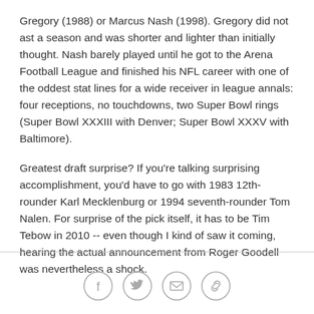Gregory (1988) or Marcus Nash (1998). Gregory did not ast a season and was shorter and lighter than initially thought. Nash barely played until he got to the Arena Football League and finished his NFL career with one of the oddest stat lines for a wide receiver in league annals: four receptions, no touchdowns, two Super Bowl rings (Super Bowl XXXIII with Denver; Super Bowl XXXV with Baltimore).
Greatest draft surprise? If you're talking surprising accomplishment, you'd have to go with 1983 12th-rounder Karl Mecklenburg or 1994 seventh-rounder Tom Nalen. For surprise of the pick itself, it has to be Tim Tebow in 2010 -- even though I kind of saw it coming, hearing the actual announcement from Roger Goodell was nevertheless a shock.
[Figure (other): Social sharing icons: Facebook, Twitter, Email, Link/chain]